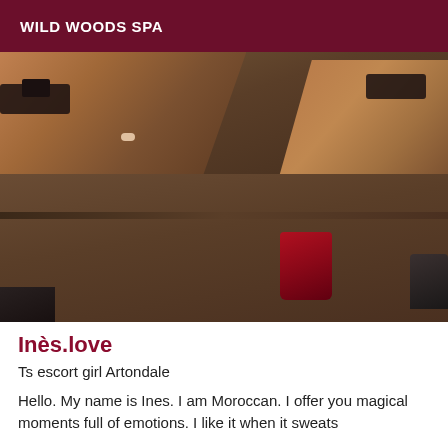WILD WOODS SPA
[Figure (photo): A photo showing a person's legs and feet lying on a table, wearing sandals/heels, with a red mug and dark objects visible on the table surface.]
Inès.love
Ts escort girl Artondale
Hello. My name is Ines. I am Moroccan. I offer you magical moments full of emotions. I like it when it sweats